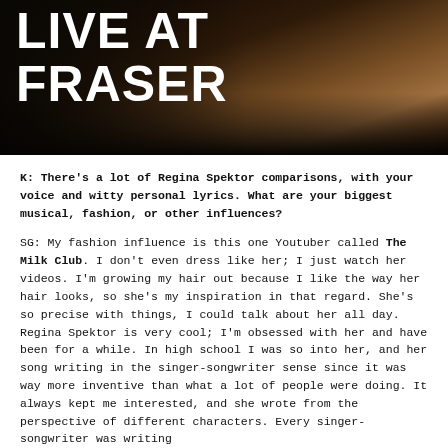[Figure (photo): Dark concert/performance photo with 'LIVE AT FRASER' text overlaid in large white bold letters. Background shows a dark stage setting with warm amber/brown tones.]
K: There's a lot of Regina Spektor comparisons, with your voice and witty personal lyrics. What are your biggest musical, fashion, or other influences?
SG: My fashion influence is this one Youtuber called The Milk Club. I don't even dress like her; I just watch her videos. I'm growing my hair out because I like the way her hair looks, so she's my inspiration in that regard. She's so precise with things, I could talk about her all day. Regina Spektor is very cool; I'm obsessed with her and have been for a while. In high school I was so into her, and her song writing in the singer-songwriter sense since it was way more inventive than what a lot of people were doing. It always kept me interested, and she wrote from the perspective of different characters. Every singer-songwriter was writing